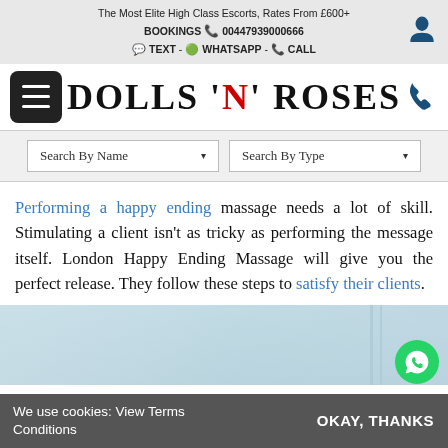The Most Elite High Class Escorts, Rates From £600+
BOOKINGS 00447939000666
TEXT - WHATSAPP - CALL
DOLLS 'N' ROSES
Search By Name▼   Search By Type▼
Performing a happy ending massage needs a lot of skill. Stimulating a client isn't as tricky as performing the message itself. London Happy Ending Massage will give you the perfect release. They follow these steps to satisfy their clients.
[Figure (photo): Partial view of a room or corridor with light-colored walls and vertical architectural elements, blurred background]
We use cookies: View Terms Conditions    OKAY, THANKS